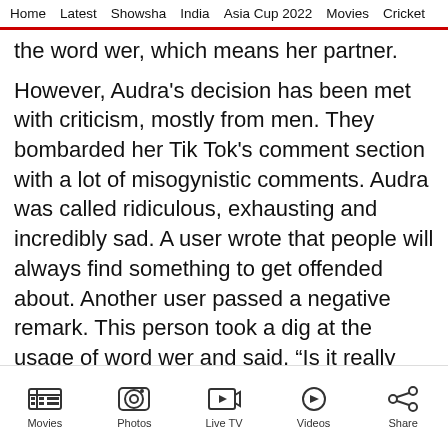Home  Latest  Showsha  India  Asia Cup 2022  Movies  Cricket
the word wer, which means her partner.
However, Audra's decision has been met with criticism, mostly from men. They bombarded her Tik Tok's comment section with a lot of misogynistic comments. Audra was called ridiculous, exhausting and incredibly sad. A user wrote that people will always find something to get offended about. Another user passed a negative remark. This person took a dig at the usage of word wer and said, “Is it really that deep?”. A third said, “You must have fun at
Movies  Photos  Live TV  Videos  Share